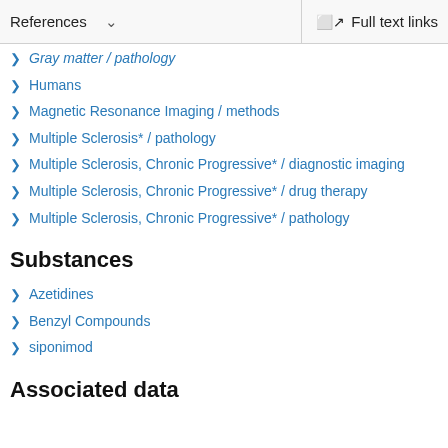References  ∨    Full text links
Gray matter / pathology
Humans
Magnetic Resonance Imaging / methods
Multiple Sclerosis* / pathology
Multiple Sclerosis, Chronic Progressive* / diagnostic imaging
Multiple Sclerosis, Chronic Progressive* / drug therapy
Multiple Sclerosis, Chronic Progressive* / pathology
Substances
Azetidines
Benzyl Compounds
siponimod
Associated data